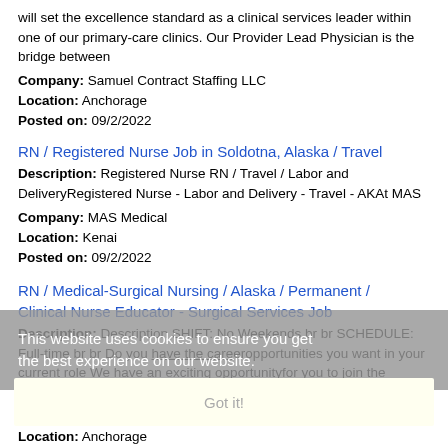will set the excellence standard as a clinical services leader within one of our primary-care clinics. Our Provider Lead Physician is the bridge between
Company: Samuel Contract Staffing LLC
Location: Anchorage
Posted on: 09/2/2022
RN / Registered Nurse Job in Soldotna, Alaska / Travel
Description: Registered Nurse RN / Travel / Labor and DeliveryRegistered Nurse - Labor and Delivery - Travel - AKAt MAS
Company: MAS Medical
Location: Kenai
Posted on: 09/2/2022
RN / Medical-Surgical Nursing / Alaska / Permanent / Clinical Nurse Educator - Surgical Services Job
Description: Description SHIFT: No Weekends br br SCHEDULE: Full-time br br Do you have the careeropportunities you want in your current role We have an exciting opportunityfor you to join the nation's largest (more...)
Company: HCA.
Location: Anchorage
Posted on: 09/2/2022